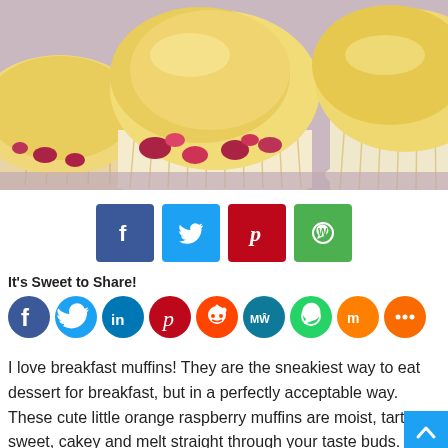[Figure (photo): Close-up photo of three raspberry muffins in white paper liners on a pink/lavender surface. The muffins have golden domed tops with visible red raspberry pieces. The center muffin is in focus.]
[Figure (infographic): Row of four square social sharing buttons: Facebook (dark blue), Twitter (light blue), Pinterest (red), WhatsApp (green), each with white icon.]
It's Sweet to Share!
[Figure (infographic): Row of nine circular social sharing buttons: Facebook, Twitter, LinkedIn, Pinterest, Reddit, MeWe, WhatsApp, Mix, Share (more).]
I love breakfast muffins! They are the sneakiest way to eat dessert for breakfast, but in a perfectly acceptable way. These cute little orange raspberry muffins are moist, tart, sweet, cakey and melt straight through your taste buds.